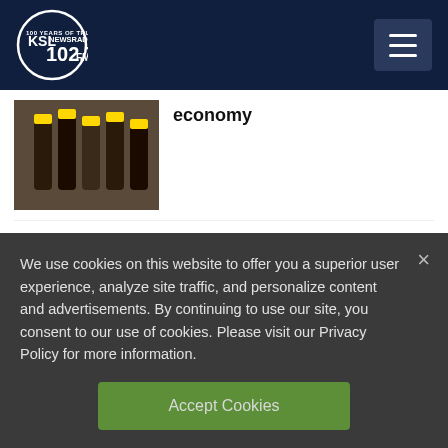[Figure (logo): KSL NewsRadio 102.7 FM logo in white circle on dark navy header]
economy
[Figure (photo): Thumbnail of Great Salt Lake dry lakebed landscape]
Your Diet Coke can could be in jeopardy if the Great Salt Lake dries up
We use cookies on this website to offer you a superior user experience, analyze site traffic, and personalize content and advertisements. By continuing to use our site, you consent to our use of cookies. Please visit our Privacy Policy for more information.
Accept Cookies